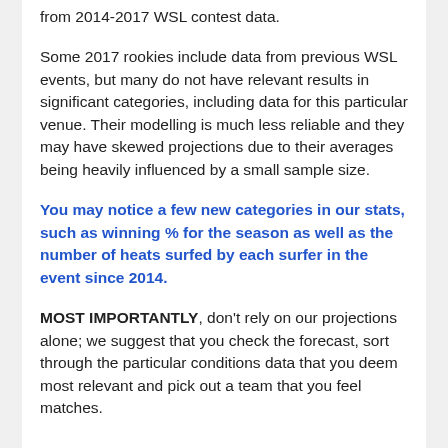from 2014-2017 WSL contest data.
Some 2017 rookies include data from previous WSL events, but many do not have relevant results in significant categories, including data for this particular venue. Their modelling is much less reliable and they may have skewed projections due to their averages being heavily influenced by a small sample size.
You may notice a few new categories in our stats, such as winning % for the season as well as the number of heats surfed by each surfer in the event since 2014.
MOST IMPORTANTLY, don't rely on our projections alone; we suggest that you check the forecast, sort through the particular conditions data that you deem most relevant and pick out a team that you feel matches.